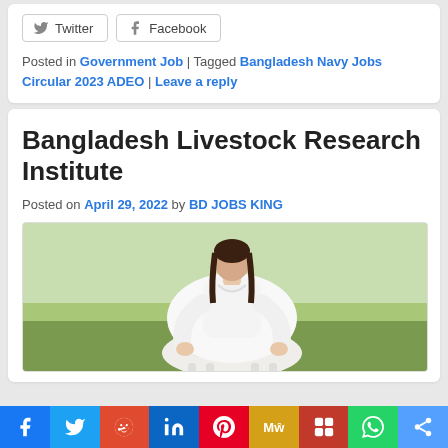Twitter | Facebook (social share buttons)
Posted in Government Job | Tagged Bangladesh Navy Jobs Circular 2023 ADEO | Leave a reply
Bangladesh Livestock Research Institute
Posted on April 29, 2022 by BD JOBS KING
[Figure (photo): Photo of a person dressed in white sitting on or near a white animal (likely a goat or sheep) in a green outdoor setting]
Social share bar: Facebook, Twitter, Reddit, LinkedIn, Pinterest, MeWe, Mix, WhatsApp, Share